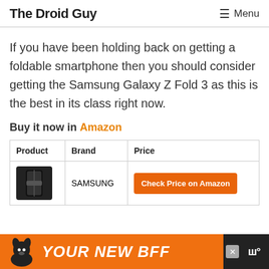The Droid Guy   ☰ Menu
If you have been holding back on getting a foldable smartphone then you should consider getting the Samsung Galaxy Z Fold 3 as this is the best in its class right now.
Buy it now in Amazon
| Product | Brand | Price |
| --- | --- | --- |
| [image] | SAMSUNG | Check Price on Amazon |
[Figure (other): Advertisement banner: black background with orange section showing a dog and text 'YOUR NEW BFF', close button, and a logo on the right]